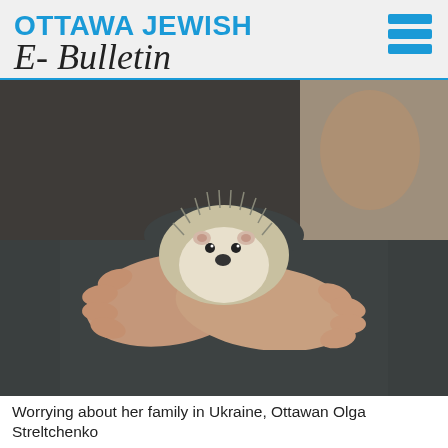OTTAWA JEWISH E-Bulletin
[Figure (photo): Person in a dark grey long-sleeve shirt holding a small hedgehog against their chest with both hands crossed. Background shows a blurred painting or artwork.]
Worrying about her family in Ukraine, Ottawan Olga Streltchenko